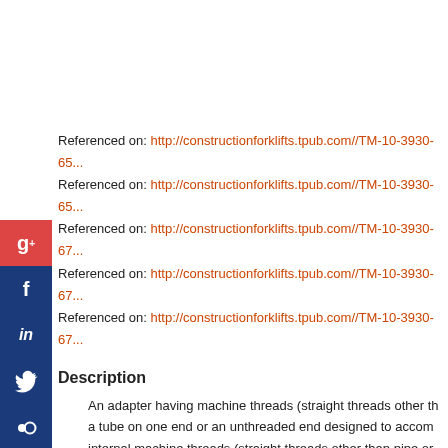Referenced on: http://constructionforklifts.tpub.com//TM-10-3930-65...
Referenced on: http://constructionforklifts.tpub.com//TM-10-3930-65...
Referenced on: http://constructionforklifts.tpub.com//TM-10-3930-67...
Referenced on: http://constructionforklifts.tpub.com//TM-10-3930-67...
Referenced on: http://constructionforklifts.tpub.com//TM-10-3930-67...
Description
An adapter having machine threads (straight threads other than pipe or other taper threads) on the outside or on the inside for attachment to a tube on one end or an unthreaded end designed to accommodate a flared or flareless tube on the other end, and having internal machine threads (straight threads other than pipe or other taper threads) designed to be used with a preformed packing, washer, or the like to form a seal at the bottom of the thread, for connection to a threaded boss or boss fitting in a straight line on items such as tanks, manifolds, and the like. Excludes COUPLING, TUBE and NIPPLE, TUBE.
Commercial and Government Entity Code (Supplier Data)